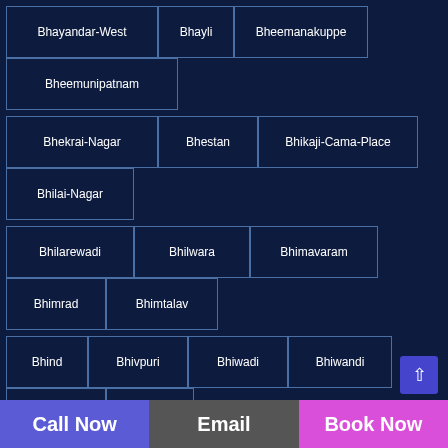Bhayandar-West
Bhayli
Bheemanakuppe
Bheemunipatnam
Bhekrai-Nagar
Bhestan
Bhikaji-Cama-Place
Bhilai-Nagar
Bhilarewadi
Bhilwara
Bhimavaram
Bhimrad
Bhimtalav
Bhind
Bhivpuri
Bhiwadi
Bhiwandi
Bhiwani
Bhogal
Bhoganhalli
Bhusari-Colony
Bhoiguda
Bhoirwadi
Bhojpura
Bhojpur
Bhokapur
Bhongir
Bhoopasandra
Bhopal
Bhor
Call Now | Email | Book Now